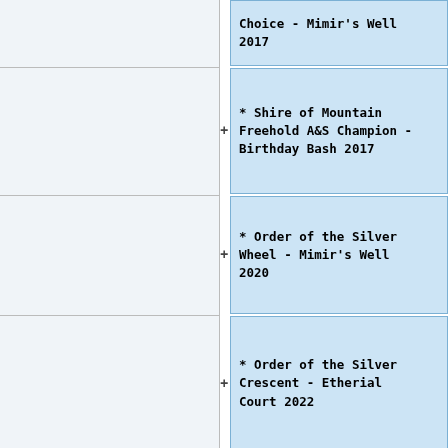* Choice - Mimir's Well 2017
* Shire of Mountain Freehold A&S Champion - Birthday Bash 2017
* Order of the Silver Wheel - Mimir's Well 2020
* Order of the Silver Crescent - Etherial Court 2022
== Offices & Positions ==
== Offices & Positions ==
Line 35:
Line 56:
==In Case of Court==
==In Case of Court==